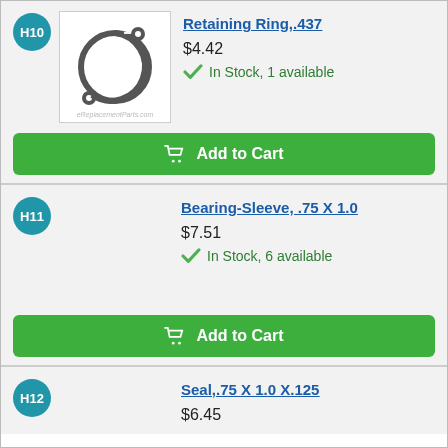H10
[Figure (photo): Retaining ring / circlip metal part photo]
Retaining Ring,.437
$4.42
In Stock, 1 available
Add to Cart
H11
Bearing-Sleeve, .75 X 1.0
$7.51
In Stock, 6 available
Add to Cart
H12
Seal,.75 X 1.0 X.125
$6.45